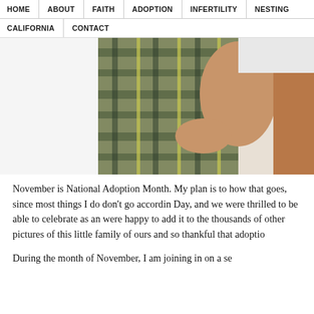HOME | ABOUT | FAITH | ADOPTION | INFERTILITY | NESTING | CALIFORNIA | CONTACT
[Figure (photo): A photo showing a person holding a child, wearing plaid shorts. The image is cropped to show torsos and legs only.]
November is National Adoption Month. My plan is to how that goes, since most things I do don't go accordin Day, and we were thrilled to be able to celebrate as an were happy to add it to the thousands of other pictures of this little family of ours and so thankful that adoptio
During the month of November, I am joining in on a se